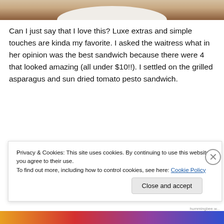[Figure (photo): Top portion of a food photo showing a white plate with food on a wooden table, partially cropped]
Can I just say that I love this? Luxe extras and simple touches are kinda my favorite. I asked the waitress what in her opinion was the best sandwich because there were 4 that looked amazing (all under $10!!). I settled on the grilled asparagus and sun dried tomato pesto sandwich.
[Figure (photo): Dark/partially visible image with a pink bar and light circle element, appears to be a food or restaurant related image]
Privacy & Cookies: This site uses cookies. By continuing to use this website, you agree to their use.
To find out more, including how to control cookies, see here: Cookie Policy
Close and accept